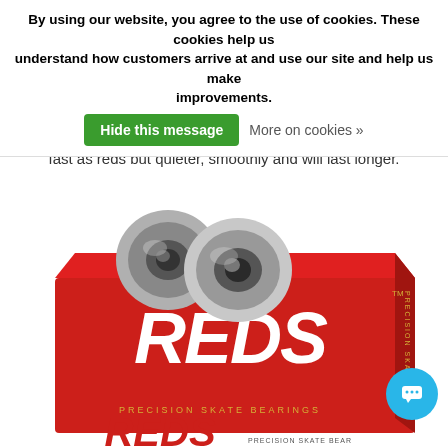By using our website, you agree to the use of cookies. These cookies help us understand how customers arrive at and use our site and help us make improvements.
Hide this message    More on cookies »
fast as reds but quieter, smoothly and will last longer.
[Figure (photo): Bones Super Reds precision skate bearings product photo showing two loose bearings and the red product box with 'BONES SUPER REDS PRECISION SKATE BEARINGS' text.]